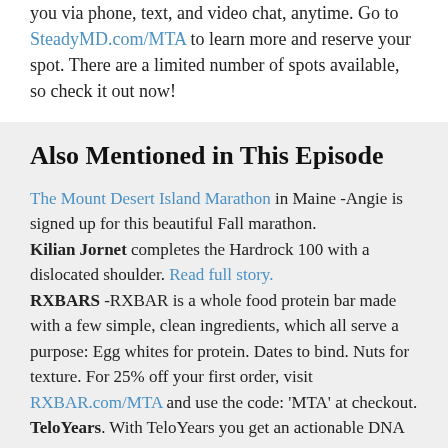you via phone, text, and video chat, anytime. Go to SteadyMD.com/MTA to learn more and reserve your spot. There are a limited number of spots available, so check it out now!
Also Mentioned in This Episode
The Mount Desert Island Marathon in Maine -Angie is signed up for this beautiful Fall marathon.
Kilian Jornet completes the Hardrock 100 with a dislocated shoulder. Read full story.
RXBARS -RXBAR is a whole food protein bar made with a few simple, clean ingredients, which all serve a purpose: Egg whites for protein. Dates to bind. Nuts for texture. For 25% off your first order, visit RXBAR.com/MTA and use the code: ‘MTA’ at checkout.
TeloYears. With TeloYears you get an actionable DNA